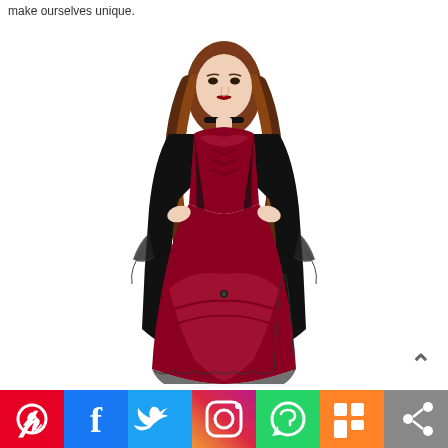make ourselves unique.
[Figure (photo): Woman wearing a gothic vampire Halloween costume: deep red/burgundy satin ball gown with black lace overlay jacket with flared sleeves, black choker, long auburn hair, standing against white background.]
[Figure (infographic): Social media share bar with icons for Pinterest (red), Facebook (blue), Twitter (light blue), Instagram (gradient), WhatsApp (green), Mix (orange), and a share icon (grey).]